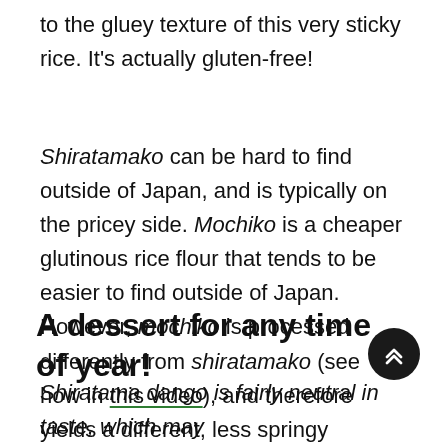to the gluey texture of this very sticky rice. It's actually gluten-free!
Shiratamako can be hard to find outside of Japan, and is typically on the pricey side. Mochiko is a cheaper glutinous rice flour that tends to be easier to find outside of Japan. However, mochiko is processed differently from shiratamako (see how in this video), and therefore yields a different, less springy texture. If you can get your hands on some shiratamako, give it a try – or compare the two for yourself!
A dessert for any time of year!
Shiratama dango is fairly neutral in taste, which may